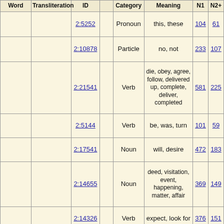| Word | Transliteration | ID |  | Category | Meaning | N1 | N2 |
| --- | --- | --- | --- | --- | --- | --- | --- |
|  |  | 2:5252 |  | Pronoun | this, these | 104 | 61 |
|  |  | 2:10878 |  | Particle | no, not | 233 | 107 |
|  |  | 2:21541 |  | Verb | die, obey, agree, follow, delivered up, complete, deliver, completed | 581 | 225 |
|  |  | 2:5144 |  | Verb | be, was, turn | 101 | 59 |
|  |  | 2:17541 |  | Noun | will, desire | 472 | 183 |
|  |  | 2:14655 |  | Noun | deed, visitation, event, happening, matter, affair | 369 | 149 |
|  |  | 2:14326 |  | Verb | expect, look for | 376 | 151 |
|  |  |  |  |  | be, was |  |  |